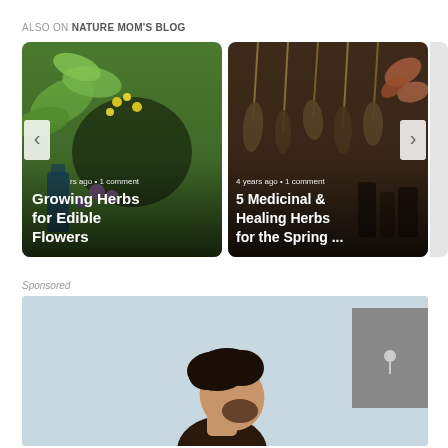ALSO ON NATURE MOM'S BLOG
[Figure (photo): Blog card showing herbs in a mortar and pestle with flowers. Caption: Growing Herbs for Edible Flowers. Meta: rs ago • 1 comment]
[Figure (photo): Blog card showing dried hanging herbs and bottles in background. Caption: 5 Medicinal & Healing Herbs for the Spring ... Meta: 4 years ago • 1 comment]
Sponsored
[Figure (photo): Sponsored image showing a man looking upward with dark curly hair, against a light blue-grey background. A dark grey box appears in the upper right.]